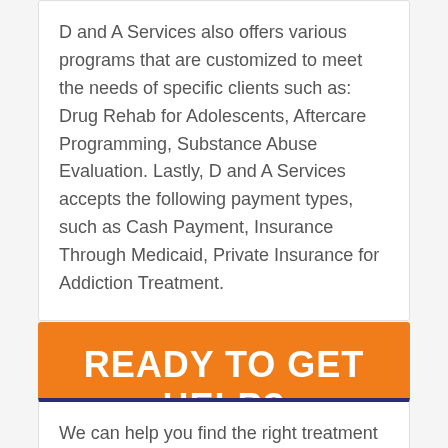D and A Services also offers various programs that are customized to meet the needs of specific clients such as: Drug Rehab for Adolescents, Aftercare Programming, Substance Abuse Evaluation. Lastly, D and A Services accepts the following payment types, such as Cash Payment, Insurance Through Medicaid, Private Insurance for Addiction Treatment.
READY TO GET HELP?
We can help you find the right treatment facility